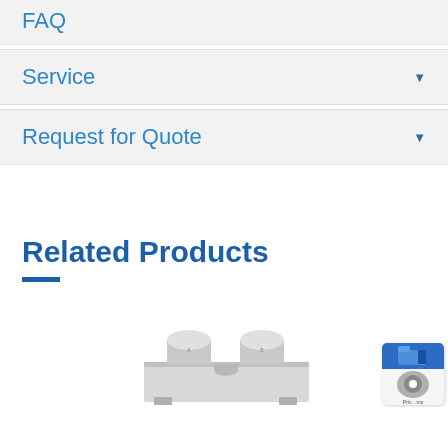FAQ
Service
Request for Quote
Related Products
[Figure (photo): A stainless steel mechanical component or valve assembly shown from the front, appearing to be an industrial fitting or manifold with cylindrical ports.]